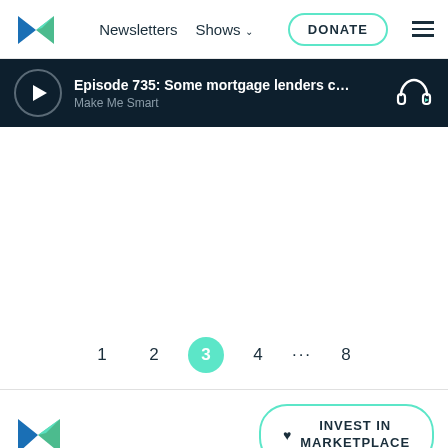[Figure (logo): Marketplace M logo in blue, green, and teal triangles]
Newsletters  Shows ∨  DONATE  ☰
Episode 735: Some mortgage lenders c…
Make Me Smart
[Figure (other): Headphone icon in white on dark background]
1  2  3  4  ···  8
[Figure (logo): Marketplace M logo in blue, green, and teal triangles (footer)]
♥ INVEST IN MARKETPLACE